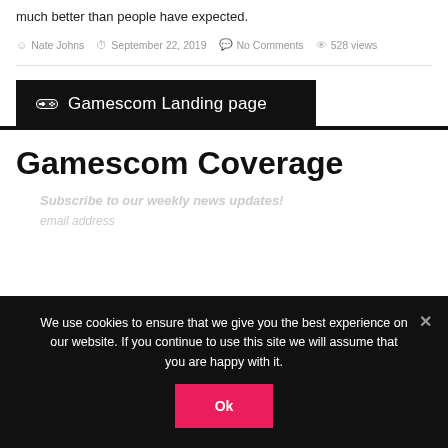much better than people have expected.
Nate Johns   September 22, 2019   No Comments   528 views
Gamescom Landing page
Gamescom Coverage
Subscribe to our weekly news updates!
email address
We use cookies to ensure that we give you the best experience on our website. If you continue to use this site we will assume that you are happy with it.
Ok